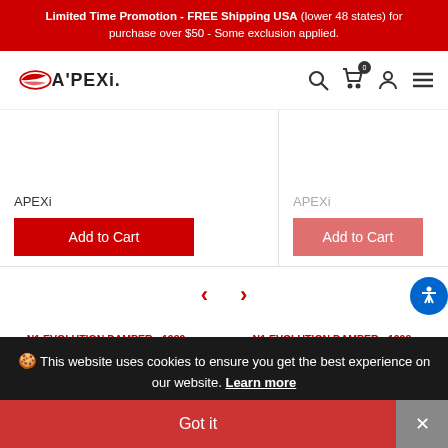Limited Time Promotion - FREE Shipping USA (lower 48 states) for purchase over $50 - Some exclusion applied.
[Figure (logo): APEXi logo with stylized wing mark and wordmark]
APEXi
Add to Cart
APEXi
Add to Cart
N1 EVOLUTION DAMPER - 1989-1999 TOYOTA MR-2
N1 EVOLUTION DAMPER - 1998-2005 TOYOTA ALTEZZA / LEXUS IS300
This website uses cookies to ensure you get the best experience on our website. Learn more
Got it